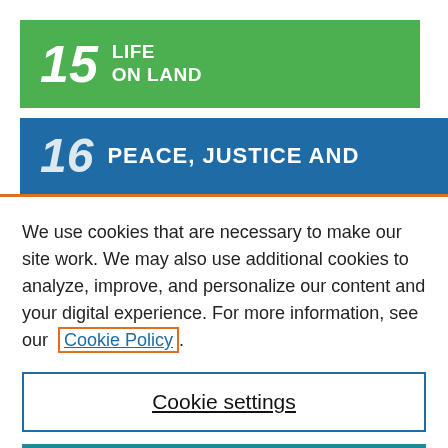[Figure (logo): SDG Goal 15 banner: green background with number 15 and text LIFE ON LAND in white]
[Figure (logo): SDG Goal 16 banner: blue background with number 16 and text PEACE, JUSTICE AND partially visible in white]
We use cookies that are necessary to make our site work. We may also use additional cookies to analyze, improve, and personalize our content and your digital experience. For more information, see our Cookie Policy.
Cookie settings
Accept all cookies